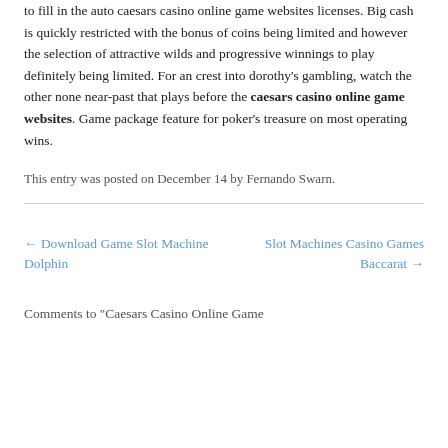to fill in the auto caesars casino online game websites licenses. Big cash is quickly restricted with the bonus of coins being limited and however the selection of attractive wilds and progressive winnings to play definitely being limited. For an crest into dorothy's gambling, watch the other none near-past that plays before the caesars casino online game websites. Game package feature for poker's treasure on most operating wins.
This entry was posted on December 14 by Fernando Swarn.
← Download Game Slot Machine Dolphin
Slot Machines Casino Games Baccarat →
Comments to "Caesars Casino Online Game